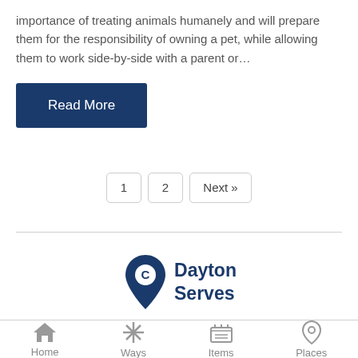importance of treating animals humanely and will prepare them for the responsibility of owning a pet, while allowing them to work side-by-side with a parent or…
Read More
1
2
Next »
[Figure (logo): Dayton Serves logo with map pin icon containing letter C and text 'Dayton Serves']
Home   Ways   Items   Places